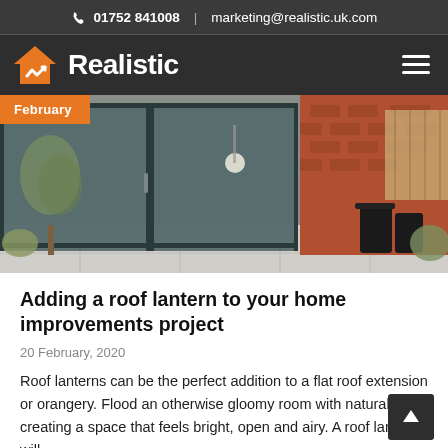📞 01752 841008  |  marketing@realistic.uk.com
[Figure (logo): Realistic logo — orange house with white checkmark and bold white 'Realistic' text on dark background]
[Figure (photo): Aerial/overhead view of a modern flat-roof extension with large sliding glass doors, brick facade, paved patio with plants and black bins]
February
Adding a roof lantern to your home improvements project
20 February, 2020
Roof lanterns can be the perfect addition to a flat roof extension or orangery. Flood an otherwise gloomy room with natural light, creating a space that feels bright, open and airy. A roof lantern will